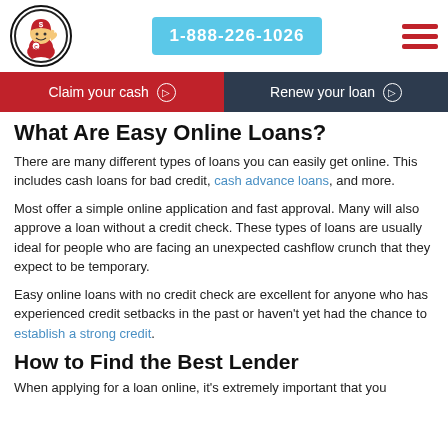1-888-226-1026
[Figure (logo): Red superhero mascot logo with dollar sign helmet inside a circle]
Claim your cash ❯
Renew your loan ❯
What Are Easy Online Loans?
There are many different types of loans you can easily get online. This includes cash loans for bad credit, cash advance loans, and more.
Most offer a simple online application and fast approval. Many will also approve a loan without a credit check. These types of loans are usually ideal for people who are facing an unexpected cashflow crunch that they expect to be temporary.
Easy online loans with no credit check are excellent for anyone who has experienced credit setbacks in the past or haven't yet had the chance to establish a strong credit.
How to Find the Best Lender
When applying for a loan online, it's extremely important that you